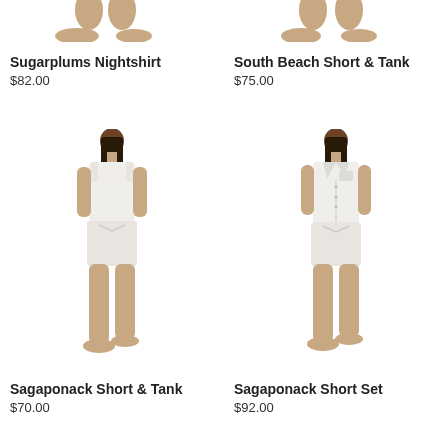[Figure (photo): Partial photo of model wearing Sugarplums Nightshirt, only legs/feet visible at top]
Sugarplums Nightshirt
$82.00
[Figure (photo): Partial photo of model wearing South Beach Short & Tank, only legs/feet visible at top]
South Beach Short & Tank
$75.00
[Figure (photo): Full photo of model wearing Sagaponack Short & Tank — white sleeveless top and white shorts]
Sagaponack Short & Tank
$70.00
[Figure (photo): Full photo of model wearing Sagaponack Short Set — white sleeveless button-front top and white shorts]
Sagaponack Short Set
$92.00